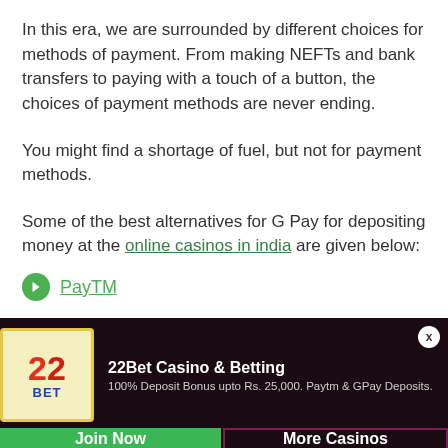In this era, we are surrounded by different choices for methods of payment. From making NEFTs and bank transfers to paying with a touch of a button, the choices of payment methods are never ending.
You might find a shortage of fuel, but not for payment methods.
Some of the best alternatives for G Pay for depositing money at the online casinos in india are given below:
PayTM
[Figure (infographic): 22Bet Casino & Betting advertisement banner. Logo with red and blue '22BET'. Text: '22Bet Casino & Betting', '100% Deposit Bonus upto Rs. 25,000. Paytm & GPay Deposits.' Two buttons: 'Join Now' (green) and 'More Casinos' (dark red border).]